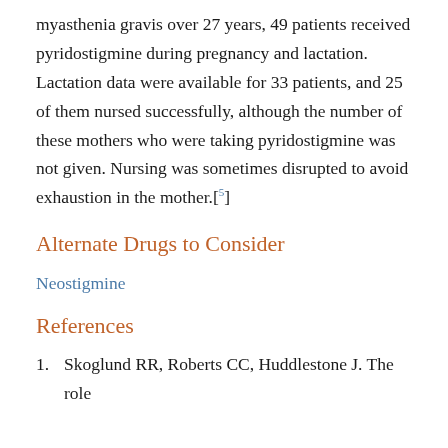myasthenia gravis over 27 years, 49 patients received pyridostigmine during pregnancy and lactation. Lactation data were available for 33 patients, and 25 of them nursed successfully, although the number of these mothers who were taking pyridostigmine was not given. Nursing was sometimes disrupted to avoid exhaustion in the mother.[5]
Alternate Drugs to Consider
Neostigmine
References
1.   Skoglund RR, Roberts CC, Huddlestone J. The role